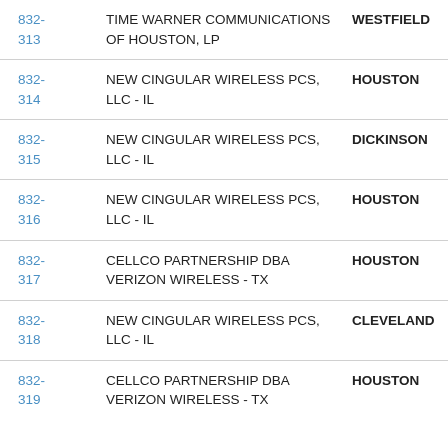| Number | Company | City |
| --- | --- | --- |
| 832-313 | TIME WARNER COMMUNICATIONS OF HOUSTON, LP | WESTFIELD |
| 832-314 | NEW CINGULAR WIRELESS PCS, LLC - IL | HOUSTON |
| 832-315 | NEW CINGULAR WIRELESS PCS, LLC - IL | DICKINSON |
| 832-316 | NEW CINGULAR WIRELESS PCS, LLC - IL | HOUSTON |
| 832-317 | CELLCO PARTNERSHIP DBA VERIZON WIRELESS - TX | HOUSTON |
| 832-318 | NEW CINGULAR WIRELESS PCS, LLC - IL | CLEVELAND |
| 832-319 | CELLCO PARTNERSHIP DBA VERIZON WIRELESS - TX | HOUSTON |